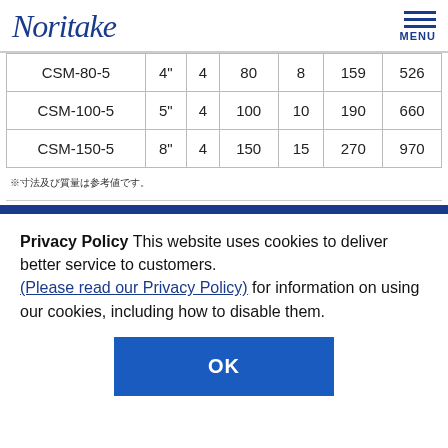Noritake  MENU
| CSM-80-5 | 4" | 4 | 80 | 8 | 159 | 526 |
| CSM-100-5 | 5" | 4 | 100 | 10 | 190 | 660 |
| CSM-150-5 | 8" | 4 | 150 | 15 | 270 | 970 |
※ 寸法及び質量は参考値です。
Privacy Policy This website uses cookies to deliver better service to customers. (Please read our Privacy Policy) for information on using our cookies, including how to disable them.
OK